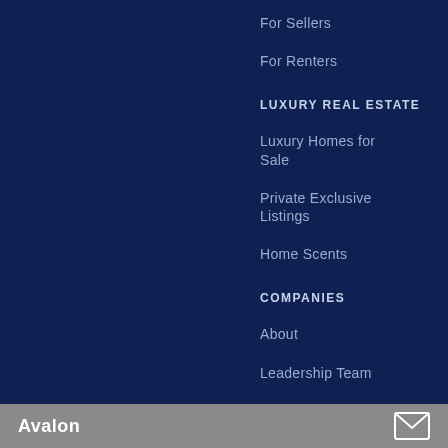For Sellers
For Renters
LUXURY REAL ESTATE
Luxury Homes for Sale
Private Exclusive Listings
Home Scents
COMPANIES
About
Leadership Team
Become a Real Estate Agent
Avalon